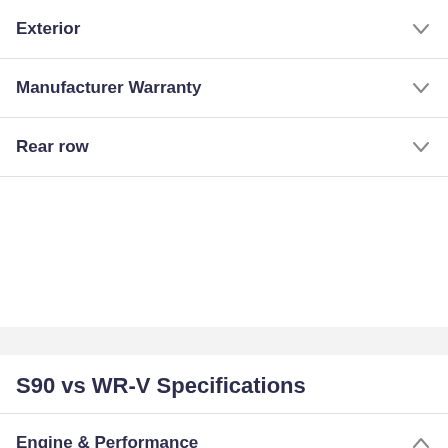Exterior
Manufacturer Warranty
Rear row
S90 vs WR-V Specifications
Engine & Performance
Fuel Type